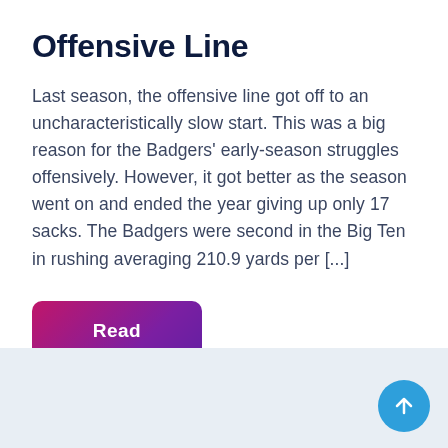Offensive Line
Last season, the offensive line got off to an uncharacteristically slow start. This was a big reason for the Badgers' early-season struggles offensively. However, it got better as the season went on and ended the year giving up only 17 sacks. The Badgers were second in the Big Ten in rushing averaging 210.9 yards per [...]
Read More